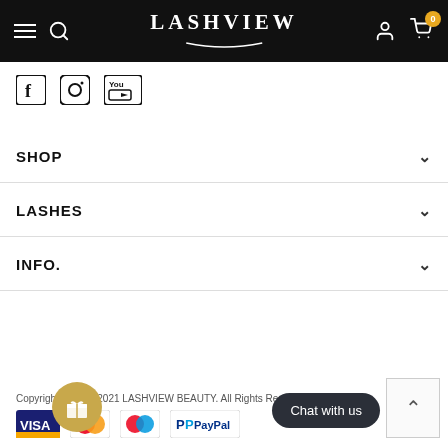LASHVIEW
[Figure (logo): Social media icons: Facebook, Instagram, YouTube]
SHOP
LASHES
INFO.
Copyright © 2015-2021 LASHVIEW BEAUTY. All Rights Reserved.
[Figure (other): Payment method logos: Visa, Mastercard, Maestro, PayPal]